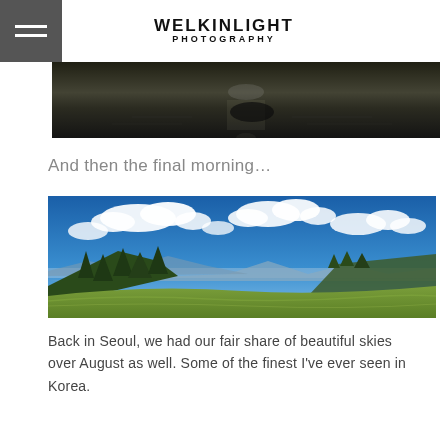WELKINLIGHT PHOTOGRAPHY
[Figure (photo): Dark black and white panoramic photo of a body of water at night with a faint reflection of light]
And then the final morning…
[Figure (photo): Panoramic landscape photo showing rolling green hills with dense pine forests under a vivid blue sky with white clouds, mountains in the background]
Back in Seoul, we had our fair share of beautiful skies over August as well. Some of the finest I've ever seen in Korea.